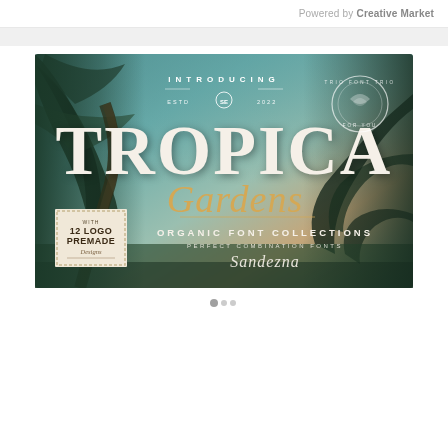Powered by Creative Market
[Figure (illustration): Tropica Gardens - Organic Font Collections promotional banner image. Shows a tropical beach scene with palm trees against a teal/turquoise sky. Large serif text 'TROPICA' and italic script 'Gardens' overlaid in cream/gold colors. Includes 'INTRODUCING', 'ESTD SE 2022', 'ORGANIC FONT COLLECTIONS', 'PERFECT COMBINATION FONTS', 'Sandezna' text. A postage stamp graphic in the lower left reads 'WITH 12 LOGO PREMADE Designs' and a circular badge stamp in upper right.]